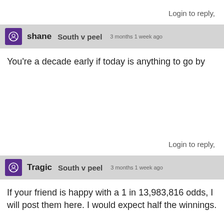Login to reply,
shane   South v peel   3 months 1 week ago
You're a decade early if today is anything to go by
Login to reply,
Tragic   South v peel   3 months 1 week ago
If your friend is happy with a 1 in 13,983,816 odds, I will post them here. I would expect half the winnings.